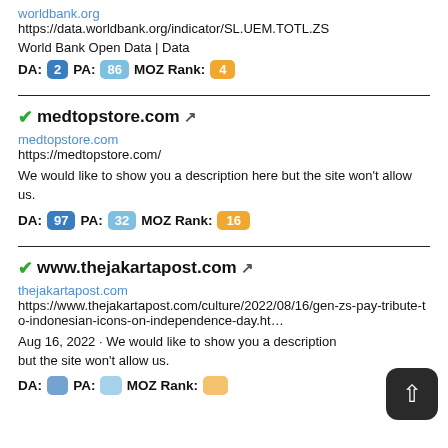worldbank.org
https://data.worldbank.org/indicator/SL.UEM.TOTL.ZS
World Bank Open Data | Data
DA: 2  PA: 86  MOZ Rank: 4
✓medtopstore.com ↗
medtopstore.com
https://medtopstore.com/
We would like to show you a description here but the site won't allow us.
DA: 97  PA: 32  MOZ Rank: 16
✓www.thejakartapost.com ↗
thejakartapost.com
https://www.thejakartapost.com/culture/2022/08/16/gen-zs-pay-tribute-to-indonesian-icons-on-independence-day.html
Aug 16, 2022 · We would like to show you a description but the site won't allow us.
DA:  PA:  MOZ Rank: